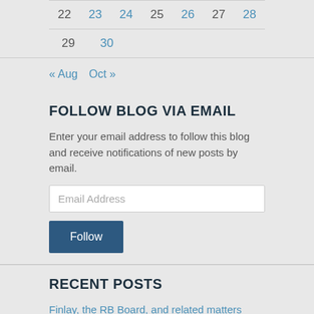| 22 | 23 | 24 | 25 | 26 | 27 | 28 |
| 29 | 30 |
« Aug   Oct »
FOLLOW BLOG VIA EMAIL
Enter your email address to follow this blog and receive notifications of new posts by email.
RECENT POSTS
Finlay, the RB Board, and related matters
Rodger Finlay revisited (2)
Rodger Finlay revisited